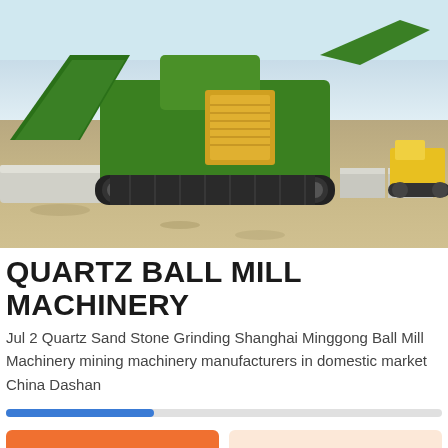[Figure (photo): A large green mobile mining/crushing machine on tracked undercarriage, parked on a construction/quarry site with dirt ground, concrete barriers, and a yellow loader visible in the background under a hazy sky.]
QUARTZ BALL MILL MACHINERY
Jul 2 Quartz Sand Stone Grinding Shanghai Minggong Ball Mill Machinery mining machinery manufacturers in domestic market China Dashan
[Figure (infographic): Blue progress bar, partially filled (approximately 1/3 of total width).]
Get a Quote
WhatsApp